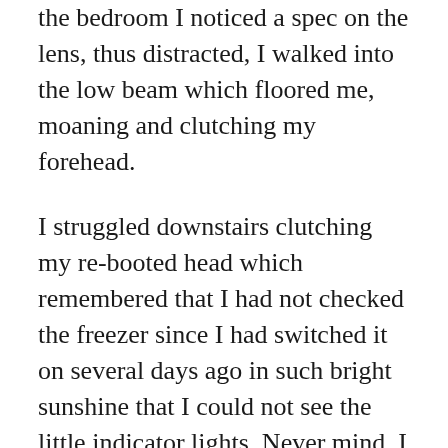the bedroom I noticed a spec on the lens, thus distracted, I walked into the low beam which floored me, moaning and clutching my forehead.
I struggled downstairs clutching my re-booted head which remembered that I had not checked the freezer since I had switched it on several days ago in such bright sunshine that I could not see the little indicator lights. Never mind, I had thought, loading it with frozen fish, scallops, squid and prawns — I'll check it when it gets dark! It has been dark on and off several times